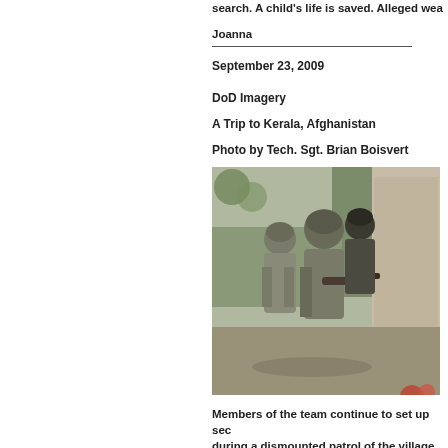search.  A child's life is saved.  Alleged wea... Joanna
September 23, 2009
DoD Imagery
A Trip to Kerala, Afghanistan
Photo by Tech. Sgt. Brian Boisvert
[Figure (photo): Soldiers in combat gear conducting a dismounted patrol of a village in Kerala, Afghanistan. Multiple soldiers visible with rifles, wearing helmets and body armor, moving through a narrow passage between stone/mud walls with vegetation in background.]
Members of the team continue to set up sec... during a dismounted patrol of the village...